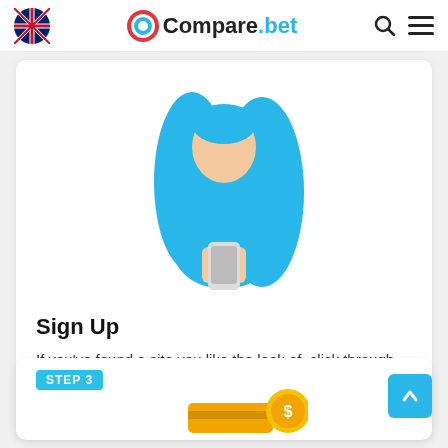Compare.bet
[Figure (illustration): Illustration of a woman with blue hair and blue shirt holding a smartphone/phone in both hands]
Sign Up
If you've found a site you like the look of, click through and sign up. You'll need to enter some personal details and might be required to provide ID as well.
STEP 3
[Figure (illustration): Partial illustration showing a golden/yellow credit card and coin, indicating payment step]